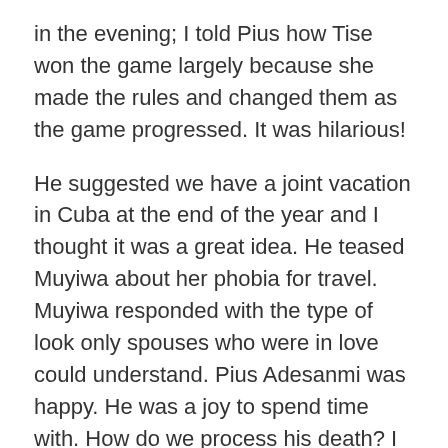in the evening; I told Pius how Tise won the game largely because she made the rules and changed them as the game progressed. It was hilarious!
He suggested we have a joint vacation in Cuba at the end of the year and I thought it was a great idea. He teased Muyiwa about her phobia for travel. Muyiwa responded with the type of look only spouses who were in love could understand. Pius Adesanmi was happy. He was a joy to spend time with. How do we process his death? I am at a loss to think that someone I spent time with a month ago has died. How do we comfort Muyiwa? What do we tell Tise? How about mama and other family members?
Pius received his bachelor's degree from the